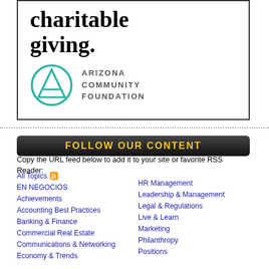charitable giving.
[Figure (logo): Arizona Community Foundation logo — teal circle with stylized A triangle inside, next to text 'ARIZONA COMMUNITY FOUNDATION']
FOLLOW OUR CONTENT
Copy the URL feed below to add it to your site or favorite RSS Reader:
All Topics
EN NEGOCIOS
Achievements
Accounting Best Practices
Banking & Finance
Commercial Real Estate
Communications & Networking
Economy & Trends
HR Management
Leadership & Management
Legal & Regulations
Live & Learn
Marketing
Philanthropy
Positions